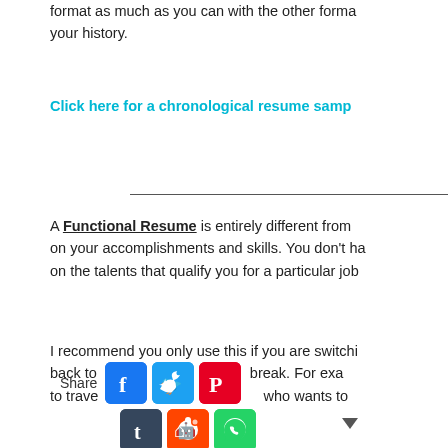format as much as you can with the other forma your history.
Click here for a chronological resume samp
A Functional Resume is entirely different from on your accomplishments and skills. You don't ha on the talents that qualify you for a particular jo
I recommend you only use this if you are switchi back to break. For exa to trave who wants to
[Figure (infographic): Social sharing bar with Share label and icons for Facebook, Twitter, Pinterest, Tumblr, Reddit, WhatsApp, plus a dropdown arrow]